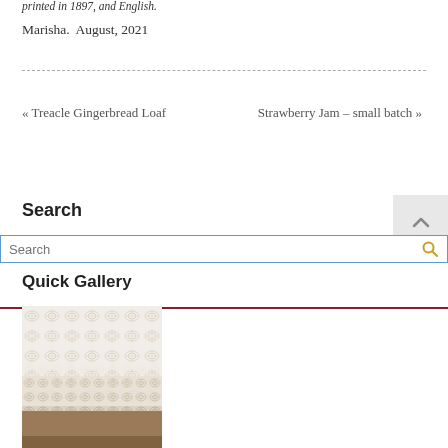printed in 1897, and English.
Marisha.  August, 2021
« Treacle Gingerbread Loaf    Strawberry Jam – small batch »
Search
Quick Gallery
[Figure (photo): Close-up photograph of white lace fabric with intricate floral and geometric patterns]